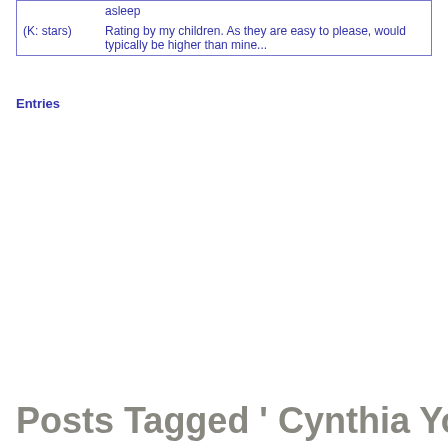| asleep |  |
| (K: stars) | Rating by my children. As they are easy to please, would typically be higher than mine... |
Entries
Posts Tagged ' Cynthia Yorkin'